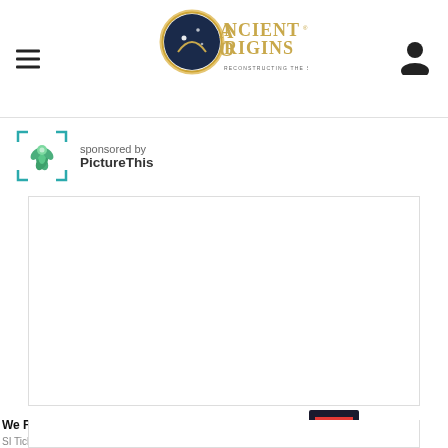Ancient Origins — Reconstructing the story of humanity's past
sponsored by PictureThis
[Figure (other): Advertisement placeholder (blank white box)]
We Found the Cheapest Tickets
SI Tickets
[Figure (other): Shop Now button with ad thumbnail for SI Tickets]